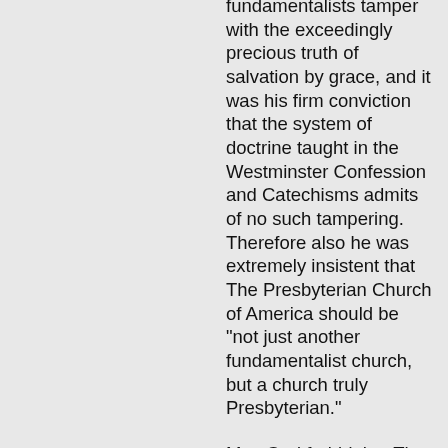fundamentalists tamper with the exceedingly precious truth of salvation by grace, and it was his firm conviction that the system of doctrine taught in the Westminster Confession and Catechisms admits of no such tampering. Therefore also he was extremely insistent that The Presbyterian Church of America should be "not just another fundamentalist church, but a church truly Presbyterian."
May God forbid that The Presbyterian Church of America should seek peace at the expense of the doctrine which lies at the very heart of Holy